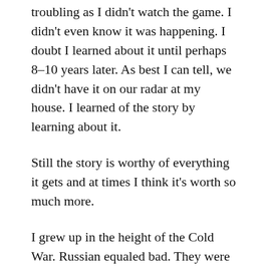troubling as I didn't watch the game. I didn't even know it was happening. I doubt I learned about it until perhaps 8–10 years later. As best I can tell, we didn't have it on our radar at my house. I learned of the story by learning about it.
Still the story is worthy of everything it gets and at times I think it's worth so much more.
I grew up in the height of the Cold War. Russian equaled bad. They were the big bad wolf out to get us, I guess. I mean I remember fearing the idea of that nuclear weapons were in the mix, but that was the extent of my analysis. I was a kid. I saw War Games and I cheered when Rocky